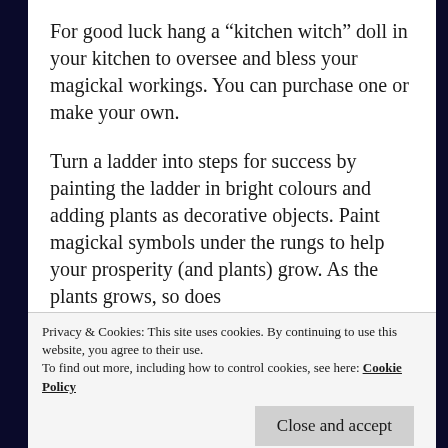For good luck hang a “kitchen witch” doll in your kitchen to oversee and bless your magickal workings. You can purchase one or make your own.
Turn a ladder into steps for success by painting the ladder in bright colours and adding plants as decorative objects. Paint magickal symbols under the rungs to help your prosperity (and plants) grow. As the plants grows, so does your prosperity
Privacy & Cookies: This site uses cookies. By continuing to use this website, you agree to their use.
To find out more, including how to control cookies, see here: Cookie Policy
Close and accept
the gel from inside the leaf onto the wounded area. The